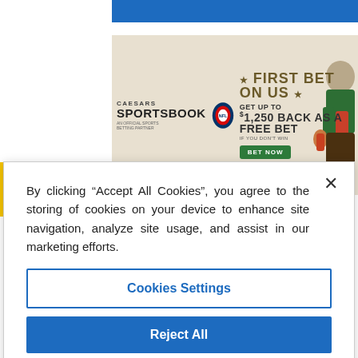[Figure (screenshot): Caesars Sportsbook NFL advertisement banner: 'FIRST BET ON US - GET UP TO $1,250 BACK AS A FREE BET IF YOU DON'T WIN - BET NOW' with a person in gladiator costume holding a football]
By clicking “Accept All Cookies”, you agree to the storing of cookies on your device to enhance site navigation, analyze site usage, and assist in our marketing efforts.
Cookies Settings
Reject All
Accept All Cookies